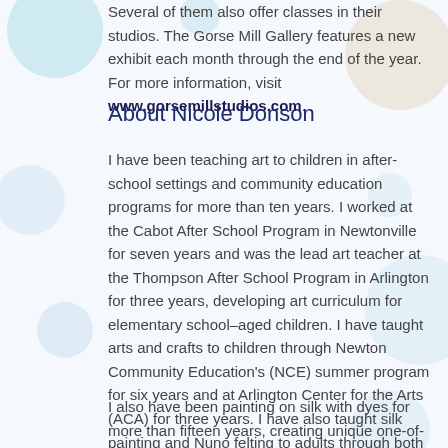Several of them also offer classes in their studios. The Gorse Mill Gallery features a new exhibit each month through the end of the year. For more information, visit www.gorsemillstudios.com.
About Nicole Donson
I have been teaching art to children in after-school settings and community education programs for more than ten years. I worked at the Cabot After School Program in Newtonville for seven years and was the lead art teacher at the Thompson After School Program in Arlington for three years, developing art curriculum for elementary school–aged children. I have taught arts and crafts to children through Newton Community Education's (NCE) summer program for six years and at Arlington Center for the Arts (ACA) for three years. I have also taught silk painting and Nuno felting to adults through both these community education programs.
I also have been painting on silk with dyes for more than fifteen years, creating unique one-of-a-kind silk scarves,